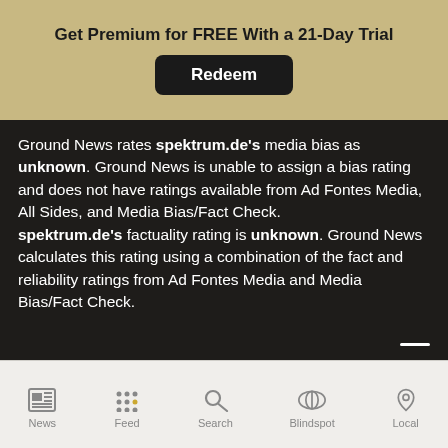Get Premium for FREE With a 21-Day Trial
Redeem
Ground News rates spektrum.de's media bias as unknown. Ground News is unable to assign a bias rating and does not have ratings available from Ad Fontes Media, All Sides, and Media Bias/Fact Check. spektrum.de's factuality rating is unknown. Ground News calculates this rating using a combination of the fact and reliability ratings from Ad Fontes Media and Media Bias/Fact Check.
News | Feed | Search | Blindspot | Local